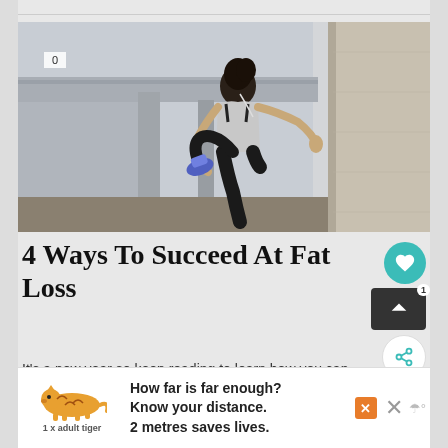[Figure (photo): Woman in athletic wear stretching/balancing against a concrete pillar outdoors, under a bridge or overpass. She is wearing a grey tank top and black leggings with colorful sneakers.]
4 Ways To Succeed At Fat Loss
It's a new year so keep reading to learn how you can
[Figure (infographic): Advertisement banner: tiger logo with text '1 x adult tiger', headline 'How far is far enough? Know your distance. 2 metres saves lives.' with close button and other UI elements.]